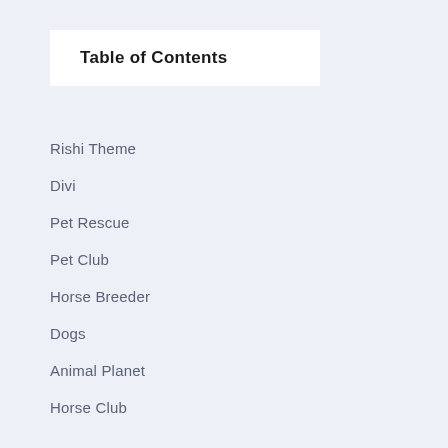Table of Contents
Rishi Theme
Divi
Pet Rescue
Pet Club
Horse Breeder
Dogs
Animal Planet
Horse Club